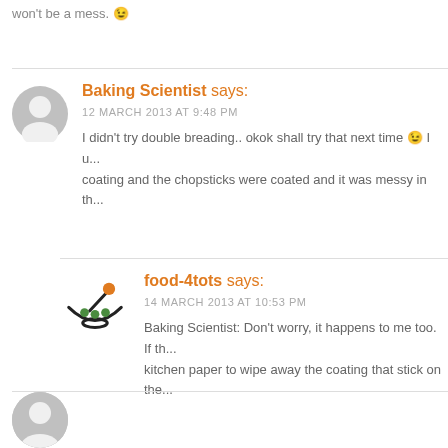won't be a mess. 🙂
Baking Scientist says:
12 MARCH 2013 AT 9:48 PM
I didn't try double breading.. okok shall try that next time 🙂 I u... coating and the chopsticks were coated and it was messy in th...
food-4tots says:
14 MARCH 2013 AT 10:53 PM
Baking Scientist: Don't worry, it happens to me too. If th... kitchen paper to wipe away the coating that stick on the...